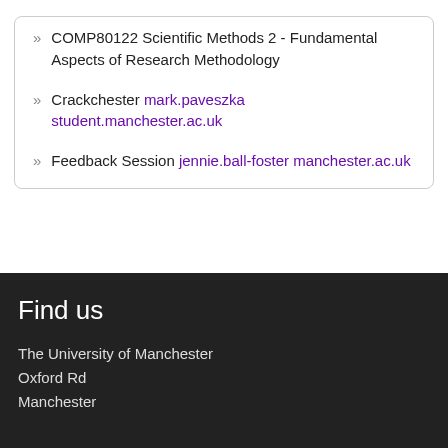COMP80122 Scientific Methods 2 - Fundamental Aspects of Research Methodology
Crackchester mark.paveszka student.manchester.ac.uk
Feedback Session jennie.ball-foster manchester.ac.uk
Find us
The University of Manchester
Oxford Rd
Manchester